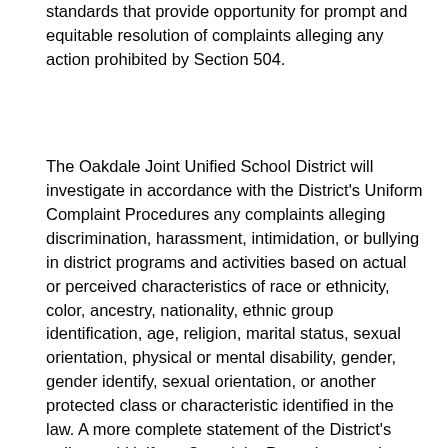standards that provide opportunity for prompt and equitable resolution of complaints alleging any action prohibited by Section 504.
The Oakdale Joint Unified School District will investigate in accordance with the District's Uniform Complaint Procedures any complaints alleging discrimination, harassment, intimidation, or bullying in district programs and activities based on actual or perceived characteristics of race or ethnicity, color, ancestry, nationality, ethnic group identification, age, religion, marital status, sexual orientation, physical or mental disability, gender, gender identify, sexual orientation, or another protected class or characteristic identified in the law. A more complete statement of the District's policy and Uniform Complaint Procedure can be found in the District's Board Policy 1312.3. If dissatisfied with the District's decision following its investigation using the Uniform Complaint Procedures, the complainant may appeal in writing to the California Department of Education in accordance with Title 5 of the California Code of Regulations, Section 4632 and the